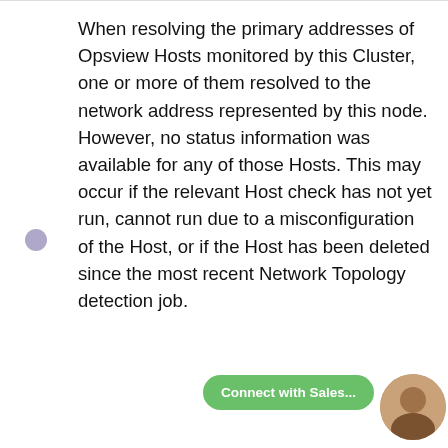When resolving the primary addresses of Opsview Hosts monitored by this Cluster, one or more of them resolved to the network address represented by this node. However, no status information was available for any of those Hosts. This may occur if the relevant Host check has not yet run, cannot run due to a misconfiguration of the Host, or if the Host has been deleted since the most recent Network Topology detection job.
Unimported:
When resolving the primary addresses of Opsview Hosts monitored by this Cluster, none resolved to the network address represented by this node.
Therefore, this represents an address that may not currently be monitored by Opsview at all.